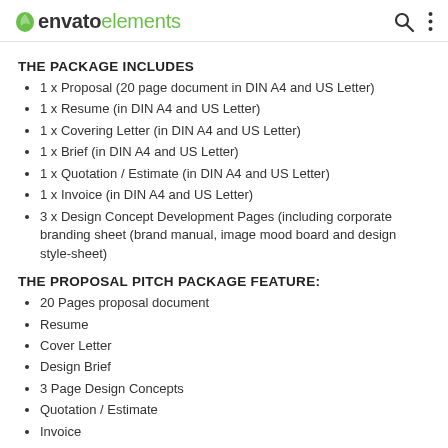envato elements
THE PACKAGE INCLUDES
1 x Proposal (20 page document in DIN A4 and US Letter)
1 x Resume (in DIN A4 and US Letter)
1 x Covering Letter (in DIN A4 and US Letter)
1 x Brief (in DIN A4 and US Letter)
1 x Quotation / Estimate (in DIN A4 and US Letter)
1 x Invoice (in DIN A4 and US Letter)
3 x Design Concept Development Pages (including corporate branding sheet (brand manual, image mood board and design style-sheet)
THE PROPOSAL PITCH PACKAGE FEATURE:
20 Pages proposal document
Resume
Cover Letter
Design Brief
3 Page Design Concepts
Quotation / Estimate
Invoice